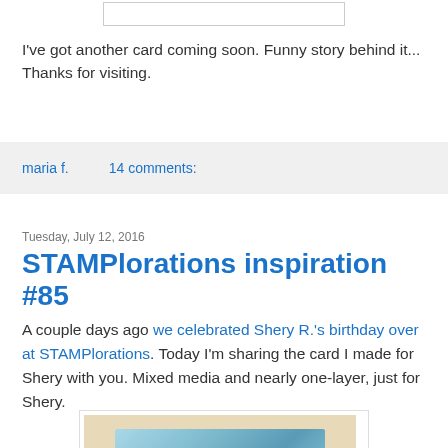[Figure (other): Partial top image/widget bar at page top]
I've got another card coming soon. Funny story behind it... Thanks for visiting.
maria f.    14 comments:
Tuesday, July 12, 2016
STAMPlorations inspiration #85
A couple days ago we celebrated Shery R.'s birthday over at STAMPlorations. Today I'm sharing the card I made for Shery with you. Mixed media and nearly one-layer, just for Shery.
[Figure (photo): Photo of a handmade card with blue/teal mixed media design on a beige background]